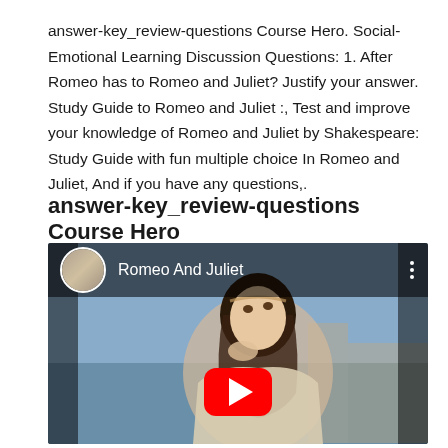answer-key_review-questions Course Hero. Social-Emotional Learning Discussion Questions: 1. After Romeo has to Romeo and Juliet? Justify your answer. Study Guide to Romeo and Juliet :, Test and improve your knowledge of Romeo and Juliet by Shakespeare: Study Guide with fun multiple choice In Romeo and Juliet, And if you have any questions,.
answer-key_review-questions Course Hero
[Figure (screenshot): YouTube video thumbnail showing a painting of Juliet (a young woman with dark hair looking upward, in classical style) with the video title 'Romeo And Juliet', a channel avatar in the top-left corner, three vertical dots menu in the top-right, and a red YouTube play button at the bottom center.]